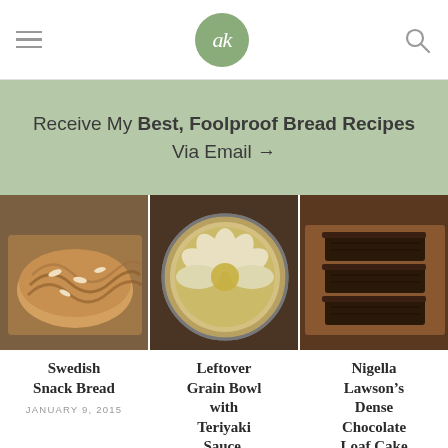ak
Receive My Best, Foolproof Bread Recipes Via Email →
[Figure (photo): Swedish snack bread on a cutting board — braided/layered pastry loaf]
Swedish Snack Bread
JANUARY 9, 2015
[Figure (photo): Leftover Grain Bowl with Teriyaki Sauce in a round pan, topped with sliced pears]
Leftover Grain Bowl with Teriyaki Sauce, Quick-Pickled Carrots &
[Figure (photo): Nigella Lawson's Dense Chocolate Loaf Cake — sliced on a wooden board]
Nigella Lawson's Dense Chocolate Loaf Cake with Booze and Coffee